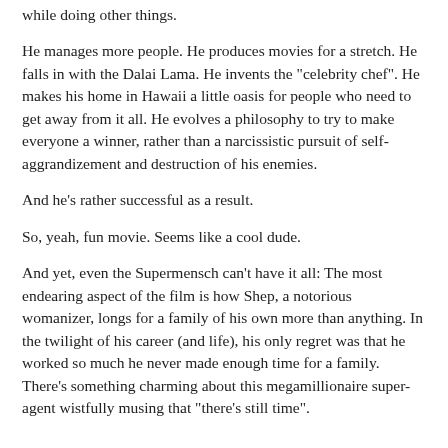while doing other things.
He manages more people. He produces movies for a stretch. He falls in with the Dalai Lama. He invents the "celebrity chef". He makes his home in Hawaii a little oasis for people who need to get away from it all. He evolves a philosophy to try to make everyone a winner, rather than a narcissistic pursuit of self-aggrandizement and destruction of his enemies.
And he's rather successful as a result.
So, yeah, fun movie. Seems like a cool dude.
And yet, even the Supermensch can't have it all: The most endearing aspect of the film is how Shep, a notorious womanizer, longs for a family of his own more than anything. In the twilight of his career (and life), his only regret was that he worked so much he never made enough time for a family. There's something charming about this megamillionaire super-agent wistfully musing that "there's still time".